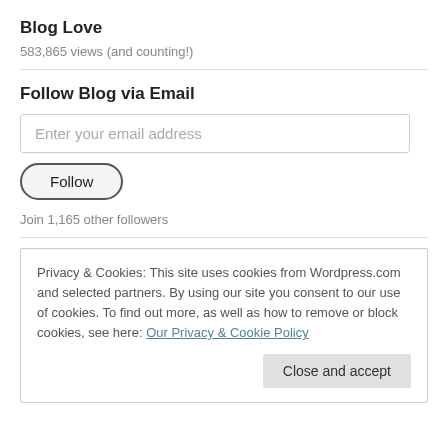Blog Love
583,865 views (and counting!)
Follow Blog via Email
Enter your email address
Follow
Join 1,165 other followers
Privacy & Cookies: This site uses cookies from Wordpress.com and selected partners. By using our site you consent to our use of cookies. To find out more, as well as how to remove or block cookies, see here: Our Privacy & Cookie Policy
Close and accept